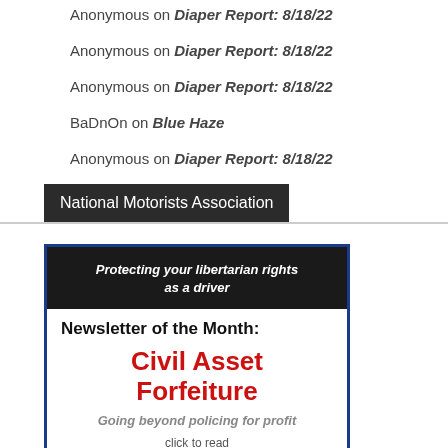Anonymous on Diaper Report: 8/18/22
Anonymous on Diaper Report: 8/18/22
Anonymous on Diaper Report: 8/18/22
BaDnOn on Blue Haze
Anonymous on Diaper Report: 8/18/22
National Motorists Association
[Figure (infographic): National Motorists Association advertisement box with dark header tagline 'Protecting your libertarian rights as a driver', Newsletter of the Month: Civil Asset Forfeiture, Going beyond policing for profit, click to read]